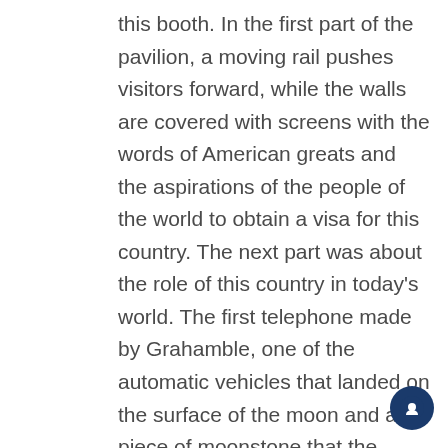this booth. In the first part of the pavilion, a moving rail pushes visitors forward, while the walls are covered with screens with the words of American greats and the aspirations of the people of the world to obtain a visa for this country. The next part was about the role of this country in today's world. The first telephone made by Grahamble, one of the automatic vehicles that landed on the surface of the moon and a piece of moonstone that the astronauts brought with them, showed part of the collection of the history of human progress by this country and sent this message to “The world owes its current owes it to America,” visitors said. This rocket is designed and built to move cargo to Earth orbit and is considered a masterpiece of the modern world. The bases of this rocket were so huge and high that a restaurant was formed under this rocket.